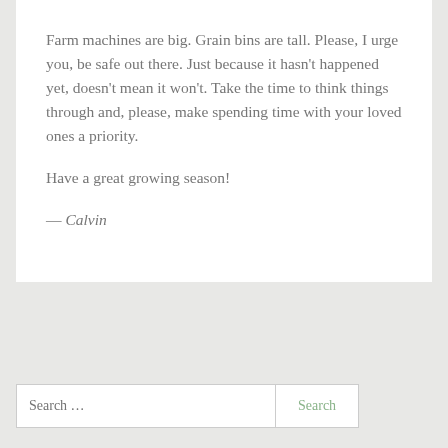Farm machines are big. Grain bins are tall. Please, I urge you, be safe out there. Just because it hasn't happened yet, doesn't mean it won't. Take the time to think things through and, please, make spending time with your loved ones a priority.
Have a great growing season!
— Calvin
Search ...